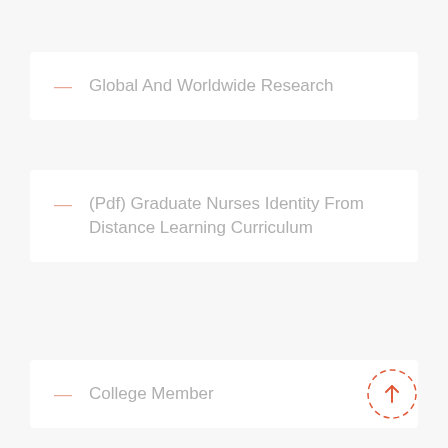Global And Worldwide Research
(Pdf) Graduate Nurses Identity From Distance Learning Curriculum
College Member